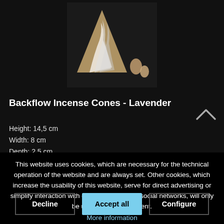[Figure (photo): Product image showing a conical backflow incense cone with smoke effect against a dark background, with two smaller cone/pellet shapes beside it]
Backflow Incense Cones - Lavender
Height: 14,5 cm
Width: 8 cm
Depth: 2,5 cm
This website uses cookies, which are necessary for the technical operation of the website and are always set. Other cookies, which increase the usability of this website, serve for direct advertising or simplify interaction with other websites and social networks, will only be used with your consent.
More information